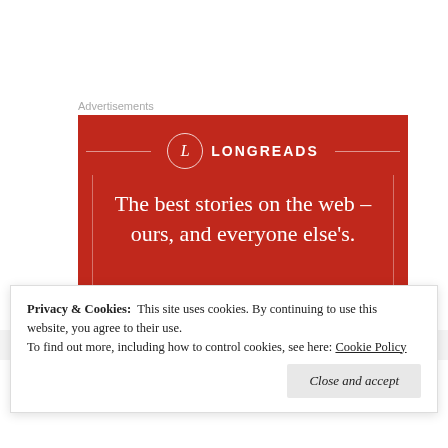Advertisements
[Figure (illustration): Longreads advertisement banner with red background, circular L logo, brand name LONGREADS, decorative bracket lines, and tagline: The best stories on the web – ours, and everyone else's.]
[Figure (photo): Partial avatar/profile photo thumbnail at bottom of page with italic author name text partially visible]
Privacy & Cookies:  This site uses cookies. By continuing to use this website, you agree to their use.
To find out more, including how to control cookies, see here: Cookie Policy
Close and accept